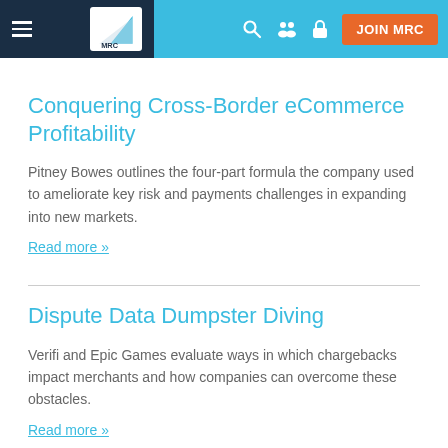MRC — JOIN MRC
Conquering Cross-Border eCommerce Profitability
Pitney Bowes outlines the four-part formula the company used to ameliorate key risk and payments challenges in expanding into new markets.
Read more »
Dispute Data Dumpster Diving
Verifi and Epic Games evaluate ways in which chargebacks impact merchants and how companies can overcome these obstacles.
Read more »